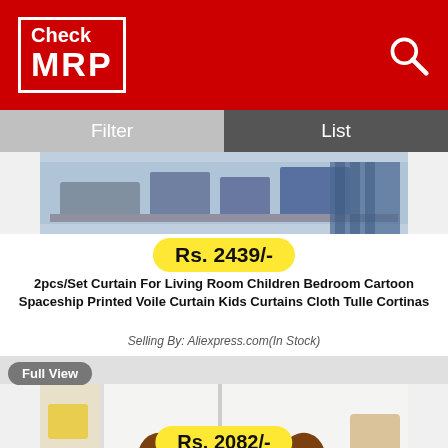Check MRP
[Figure (screenshot): Bedroom curtain product image showing curtains in a bedroom setting]
Rs. 2439/-
2pcs/Set Curtain For Living Room Children Bedroom Cartoon Spaceship Printed Voile Curtain Kids Curtains Cloth Tulle Cortinas
Selling By: Aliexpress.com(In Stock)
Full View
[Figure (photo): Dog wearing red sunglasses holding popcorn and a drink, printed on curtain]
Rs. 2082/-